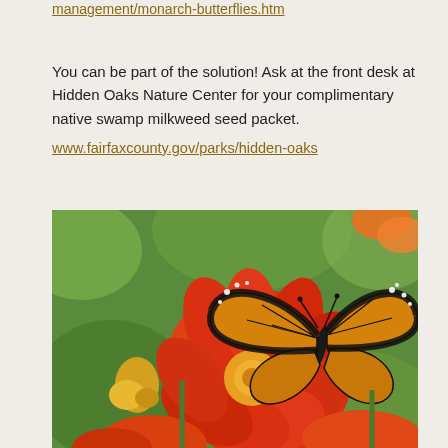management/monarch-butterflies.htm
You can be part of the solution! Ask at the front desk at Hidden Oaks Nature Center for your complimentary native swamp milkweed seed packet.
www.fairfaxcounty.gov/parks/hidden-oaks
[Figure (photo): A monarch butterfly with orange and black wings resting on a bright red-orange flower, surrounded by more red-orange and yellow flowers with green foliage in the background.]